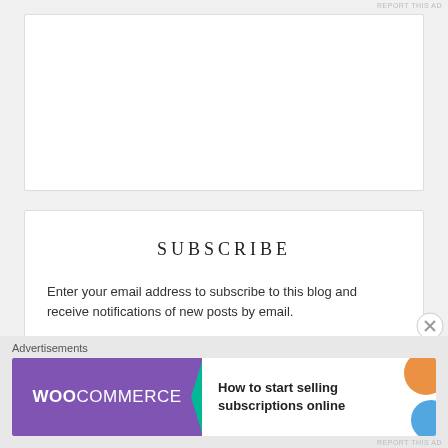REPORT THIS AD
[Figure (other): Empty white advertisement box at top of page]
SUBSCRIBE
Enter your email address to subscribe to this blog and receive notifications of new posts by email.
Enter your email address
SUBSCRIBE
Advertisements
[Figure (other): WooCommerce advertisement banner: 'How to start selling subscriptions online']
REPORT THIS AD